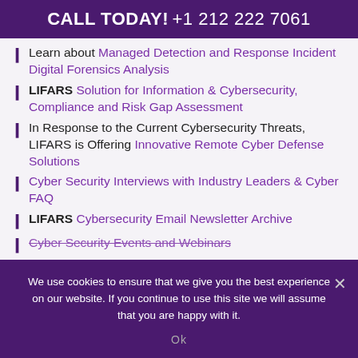CALL TODAY! +1 212 222 7061
Learn about Managed Detection and Response Incident Digital Forensics Analysis
LIFARS Solution for Information & Cybersecurity, Compliance and Risk Gap Assessment
In Response to the Current Cybersecurity Threats, LIFARS is Offering Innovative Remote Cyber Defense Solutions
Cyber Security Interviews with Industry Leaders & Cyber FAQ
LIFARS Cybersecurity Email Newsletter Archive
Cyber Security Events and Webinars
We use cookies to ensure that we give you the best experience on our website. If you continue to use this site we will assume that you are happy with it.
Ok